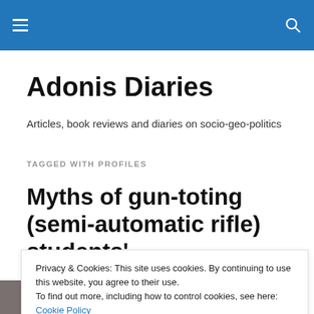Adonis Diaries [navigation bar with hamburger menu and search icon]
Adonis Diaries
Articles, book reviews and diaries on socio-geo-politics
TAGGED WITH PROFILES
Myths of gun-toting (semi-automatic rifle) students'
Privacy & Cookies: This site uses cookies. By continuing to use this website, you agree to their use.
To find out more, including how to control cookies, see here: Cookie Policy
Close and accept